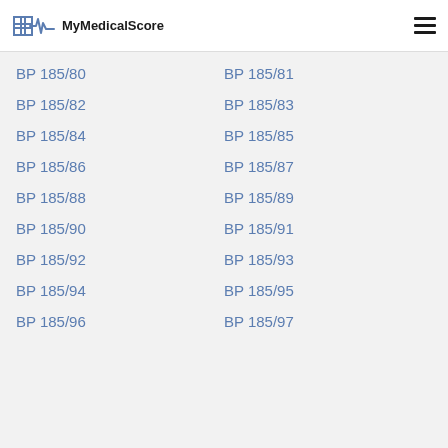MyMedicalScore
BP 185/80
BP 185/81
BP 185/82
BP 185/83
BP 185/84
BP 185/85
BP 185/86
BP 185/87
BP 185/88
BP 185/89
BP 185/90
BP 185/91
BP 185/92
BP 185/93
BP 185/94
BP 185/95
BP 185/96
BP 185/97